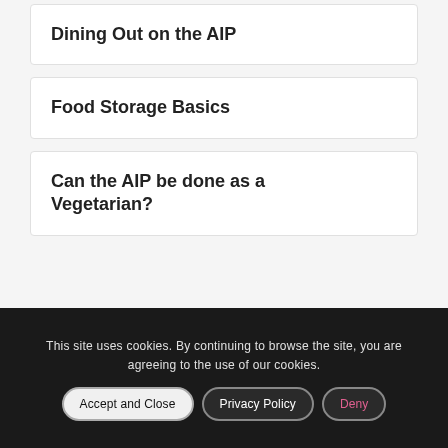Dining Out on the AIP
Food Storage Basics
Can the AIP be done as a Vegetarian?
This site uses cookies. By continuing to browse the site, you are agreeing to the use of our cookies.
Accept and Close | Privacy Policy | Deny